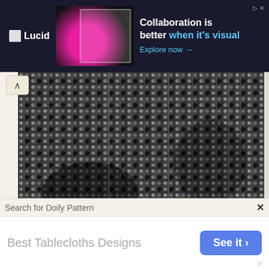[Figure (screenshot): Lucid advertisement banner with dark background, pink/magenta illustrated woman, and text 'Collaboration is better when it's visual. Explore now →']
[Figure (photo): Black and white close-up photo of intricate knitted or crocheted lace tablecloth fabric showing detailed circular and geometric patterns]
other patterns in leaflet:
Century Luncheon Set Pattern
Square-a-Day Tablecloth Pattern
Flower Wheel Tablecloth Pattern
Regent Dinner Cloth Pattern
Tudor Dinner Cloth Pattern
Occasional Doily Pattern
Search for Doily Pattern
[Figure (screenshot): Bottom advertisement bar showing 'Best Tablecloths Designs' with a 'See it ›' button in blue]